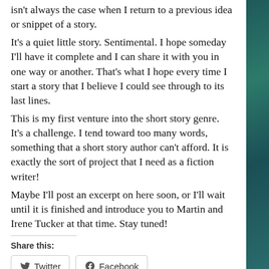isn't always the case when I return to a previous idea or snippet of a story.
It's a quiet little story. Sentimental. I hope someday I'll have it complete and I can share it with you in one way or another. That's what I hope every time I start a story that I believe I could see through to its last lines.
This is my first venture into the short story genre. It's a challenge. I tend toward too many words, something that a short story author can't afford. It is exactly the sort of project that I need as a fiction writer!
Maybe I'll post an excerpt on here soon, or I'll wait until it is finished and introduce you to Martin and Irene Tucker at that time. Stay tuned!
Share this:
Twitter
Facebook
Loading...